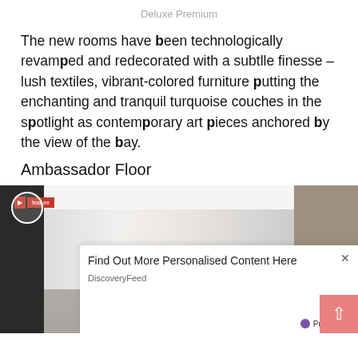Deluxe Premium
The new rooms have been technologically revamped and redecorated with a subtle finesse – lush textiles, vibrant-colored furniture putting the enchanting and tranquil turquoise couches in the spotlight as contemporary art pieces anchored by the view of the bay.
Ambassador Floor
[Figure (photo): Hotel room interior showing ceiling, curtains, TV on left wall, patterned wallpaper on right, with a video player feature badge overlay and an advertisement popup for DiscoveryFeed/PurpleAds showing a person with backpack]